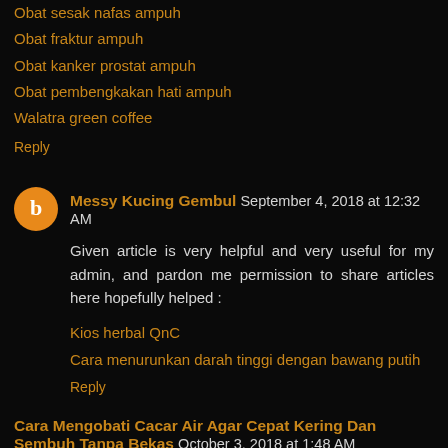Obat sesak nafas ampuh
Obat fraktur ampuh
Obat kanker prostat ampuh
Obat pembengkakan hati ampuh
Walatra green coffee
Reply
Messy Kucing Gembul September 4, 2018 at 12:32 AM
Given article is very helpful and very useful for my admin, and pardon me permission to share articles here hopefully helped :
Kios herbal QnC
Cara menurunkan darah tinggi dengan bawang putih
Reply
Cara Mengobati Cacar Air Agar Cepat Kering Dan Sembuh Tanpa Bekas October 3, 2018 at 1:48 AM
Thank you very much because you have shared many